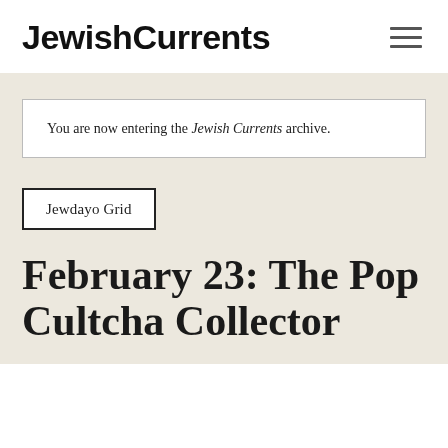Jewish Currents
You are now entering the Jewish Currents archive.
Jewdayo Grid
February 23: The Pop Cultcha Collector